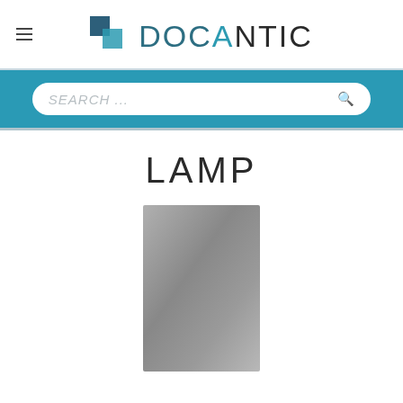DOCANTIC
SEARCH ...
LAMP
[Figure (photo): Partial image of a lamp with gray cylindrical body, cropped at bottom of page]